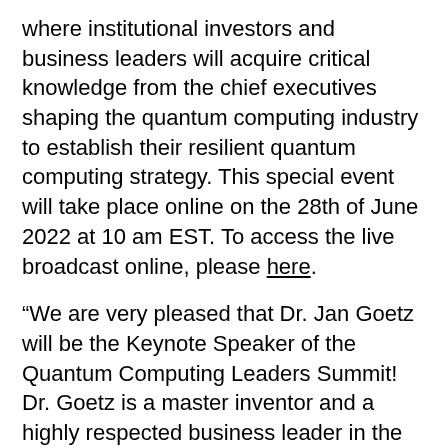where institutional investors and business leaders will acquire critical knowledge from the chief executives shaping the quantum computing industry to establish their resilient quantum computing strategy. This special event will take place online on the 28th of June 2022 at 10 am EST. To access the live broadcast online, please here.
“We are very pleased that Dr. Jan Goetz will be the Keynote Speaker of the Quantum Computing Leaders Summit! Dr. Goetz is a master inventor and a highly respected business leader in the field of quantum computing,” said Maëva Ghonda, Global Quantum IP Expert. “Dr. Goetz is a named inventor on his company’s key IP including China Patent No. CN214475006U which is titled: Three-Dimensional Superconducting Quantum Bit and Quantum Computing Circuit. Under Dr. Goetz’s leadership IQM has quickly expanded internationally and secured prized intellectual property (IP) in key jurisdictions, including China.”